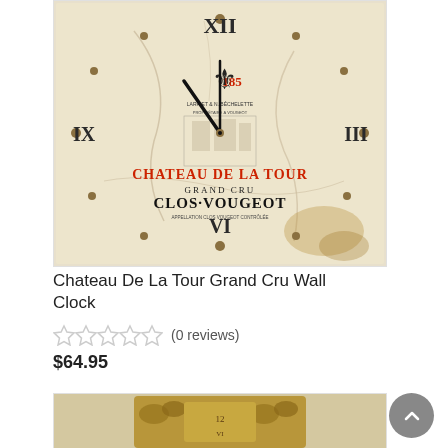[Figure (photo): A decorative wall clock with a stone/marble face displaying a Chateau De La Tour Grand Cru Clos-Vougeot wine label design. The clock has Roman numerals IX, XII, III, and VI, ornate black clock hands, and aged cracked stone appearance with gold dot hour markers.]
Chateau De La Tour Grand Cru Wall Clock
[Figure (infographic): Five empty/unfilled star rating icons indicating 0 out of 5 stars]
(0 reviews)
$64.95
[Figure (photo): A second product partially visible at the bottom — appears to be a decorative bronze or brass clock with ornate leaf/floral relief design.]